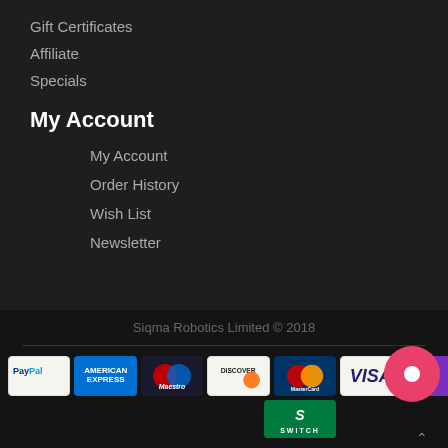Gift Certificates
Affiliate
Specials
My Account
My Account
Order History
Wish List
Newsletter
Siqma Robotics Limited © 2018
[Figure (logo): Payment method logos: PayPal, American Express, Maestro, Discover, MasterCard, Visa, Switch, and a pink chat button]